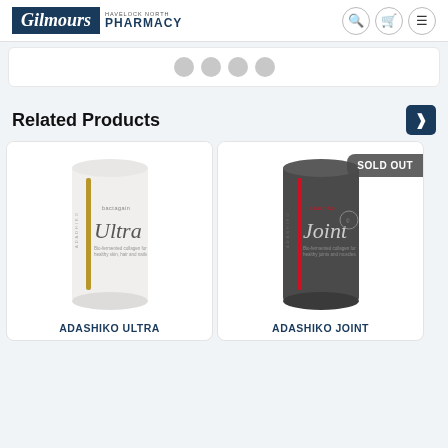Gilmours Havelock North Pharmacy
[Figure (screenshot): Social media icon dots / carousel indicator row]
Related Products
[Figure (photo): Adashiko Ultra white cylindrical product container]
ADASHIKO ULTRA
[Figure (photo): Adashiko Joint dark grey cylindrical product container with SOLD OUT badge]
ADASHIKO JOINT